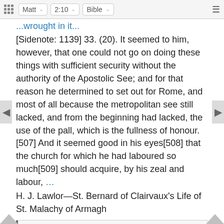Matt 2:10 Bible
...wrought in it...
[Sidenote: 1139] 33. (20). It seemed to him, however, that one could not go on doing these things with sufficient security without the authority of the Apostolic See; and for that reason he determined to set out for Rome, and most of all because the metropolitan see still lacked, and from the beginning had lacked, the use of the pall, which is the fullness of honour.[507] And it seemed good in his eyes[508] that the church for which he had laboured so much[509] should acquire, by his zeal and labour, …
H. J. Lawlor—St. Bernard of Clairvaux's Life of St. Malachy of Armagh
Links
Matthew 2:10 NIV • Matthew 2:10 NLT • Matthew 2:10 ESV • Matthew 2:10 NASB • Matthew 2:10